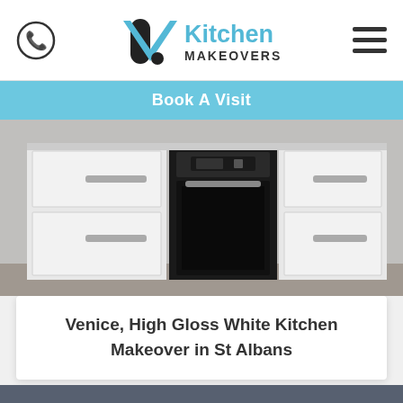[Figure (logo): Kitchen Makeovers logo with phone icon and hamburger menu]
Book A Visit
[Figure (photo): White high gloss kitchen with built-in oven and cabinet doors with bar handles]
Venice, High Gloss White Kitchen Makeover in St Albans
Kitchen Transformations in Bodmin
Call: 01872 384 454